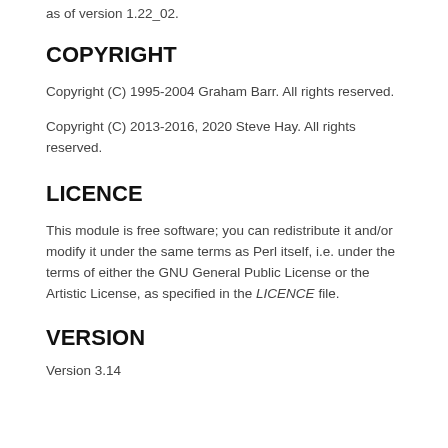as of version 1.22_02.
COPYRIGHT
Copyright (C) 1995-2004 Graham Barr. All rights reserved.
Copyright (C) 2013-2016, 2020 Steve Hay. All rights reserved.
LICENCE
This module is free software; you can redistribute it and/or modify it under the same terms as Perl itself, i.e. under the terms of either the GNU General Public License or the Artistic License, as specified in the LICENCE file.
VERSION
Version 3.14